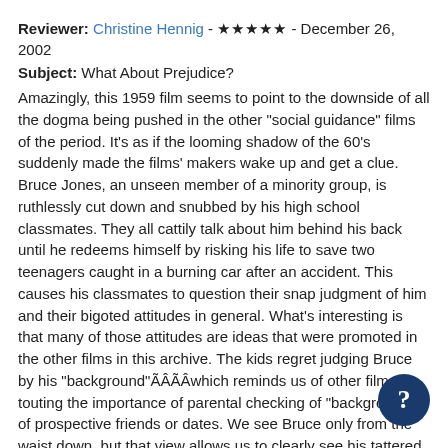Reviewer: Christine Hennig - ★★★★★ - December 26, 2002
Subject: What About Prejudice?
Amazingly, this 1959 film seems to point to the downside of all the dogma being pushed in the other "social guidance" films of the period. It's as if the looming shadow of the 60's suddenly made the films' makers wake up and get a clue. Bruce Jones, an unseen member of a minority group, is ruthlessly cut down and snubbed by his high school classmates. They all cattily talk about him behind his back until he redeems himself by risking his life to save two teenagers caught in a burning car after an accident. This causes his classmates to question their snap judgment of him and their bigoted attitudes in general. What's interesting is that many of those attitudes are ideas that were promoted in the other films in this archive. The kids regret judging Bruce by his "background"ÃÂÃÂwhich reminds us of other films touting the importance of parental checking of "backgrounds" of prospective friends or dates. We see Bruce only from the waist down, but that view allows us to clearly see his tattered jeansÃÂÃÂwhich then reminds us of all the hygiene films and their emphasis on "good appearance", tacitly encouraging kids to judge others on the basis of appearance. Most interestingly, the film points out that some